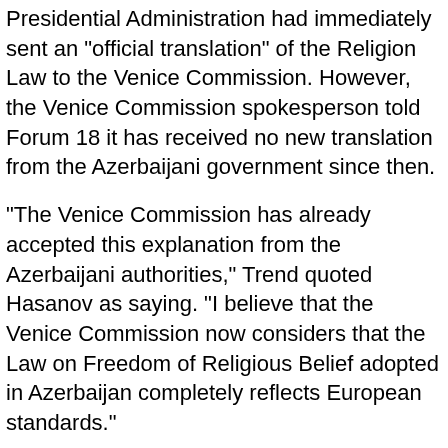Presidential Administration had immediately sent an "official translation" of the Religion Law to the Venice Commission. However, the Venice Commission spokesperson told Forum 18 it has received no new translation from the Azerbaijani government since then.
"The Venice Commission has already accepted this explanation from the Azerbaijani authorities," Trend quoted Hasanov as saying. "I believe that the Venice Commission now considers that the Law on Freedom of Religious Belief adopted in Azerbaijan completely reflects European standards."
However, the Venice Commission told Forum 18 it fully stands by its Opinion. "The Venice Commission adopted its opinion fully aware of the Azerbaijani government's comments and therefore maintains all its conclusions," the Venice Commission spokesperson told Forum 18.
No response
Forum 18 tried to reach Ali Hasanov at the Presidential Administration in Baku on 22 October. However, officials said he was in a meeting and referred Forum 18 to his senior advisor, Jeyran Amiraslanova. The woman who answered her phone